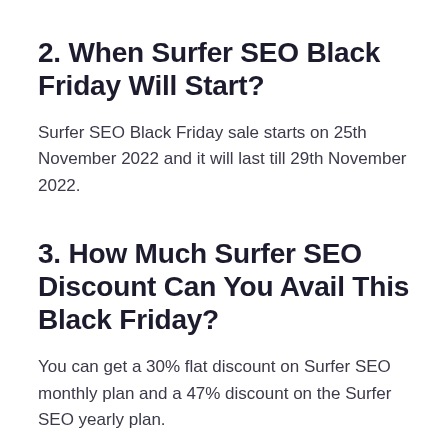2. When Surfer SEO Black Friday Will Start?
Surfer SEO Black Friday sale starts on 25th November 2022 and it will last till 29th November 2022.
3. How Much Surfer SEO Discount Can You Avail This Black Friday?
You can get a 30% flat discount on Surfer SEO monthly plan and a 47% discount on the Surfer SEO yearly plan.